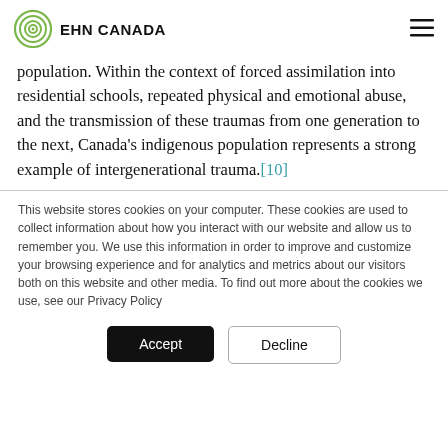EHN CANADA
population. Within the context of forced assimilation into residential schools, repeated physical and emotional abuse, and the transmission of these traumas from one generation to the next, Canada's indigenous population represents a strong example of intergenerational trauma.[10]
This website stores cookies on your computer. These cookies are used to collect information about how you interact with our website and allow us to remember you. We use this information in order to improve and customize your browsing experience and for analytics and metrics about our visitors both on this website and other media. To find out more about the cookies we use, see our Privacy Policy
Accept
Decline